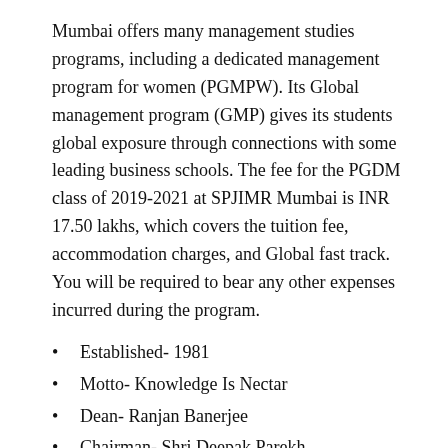Mumbai offers many management studies programs, including a dedicated management program for women (PGMPW). Its Global management program (GMP) gives its students global exposure through connections with some leading business schools. The fee for the PGDM class of 2019-2021 at SPJIMR Mumbai is INR 17.50 lakhs, which covers the tuition fee, accommodation charges, and Global fast track. You will be required to bear any other expenses incurred during the program.
Established- 1981
Motto- Knowledge Is Nectar
Dean- Ranjan Banerjee
Chairman- Shri Deepak Parekh
No.7 IIM Indore
The flagship program at IIM Indore is a two-year full-time residential MBA program called Post-graduate